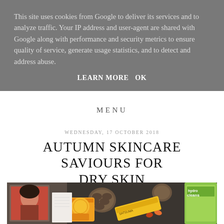This site uses cookies from Google to deliver its services and to analyze traffic. Your IP address and user-agent are shared with Google along with performance and security metrics to ensure quality of service, generate usage statistics, and to detect and address abuse.
LEARN MORE   OK
MENU
WEDNESDAY, 17 OCTOBER 2018
AUTUMN SKINCARE SAVIOURS FOR DRY SKIN
[Figure (photo): Flat lay photo of autumn skincare products including tubes and packaging with pine cones and orange flowers on a dark background, featuring The Body Shop and Garnier hydro cleanse products.]